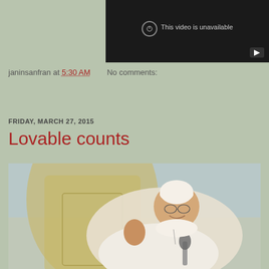[Figure (screenshot): Embedded YouTube video player showing 'This video is unavailable' message with dark background and YouTube play button icon in bottom right corner]
janinsanfran at 5:30 AM    No comments:
Share
FRIDAY, MARCH 27, 2015
Lovable counts
[Figure (photo): Photograph of Pope Francis seated in a yellow/gold chair, wearing white papal vestments and white zucchetto, smiling and gesturing with his right hand, with a microphone visible in the foreground]